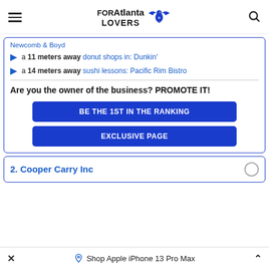FORAtlanta LOVERS
Newcomb & Boyd
a 11 meters away donut shops in: Dunkin'
a 14 meters away sushi lessons: Pacific Rim Bistro
Are you the owner of the business? PROMOTE IT!
BE THE 1ST IN THE RANKING
EXCLUSIVE PAGE
2. Cooper Carry Inc
Shop Apple iPhone 13 Pro Max